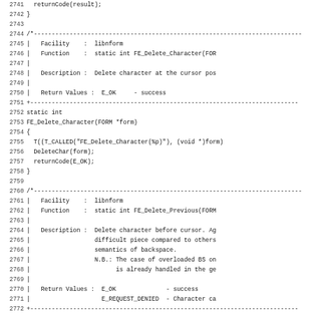Source code listing, lines 2741-2772, showing FE_Delete_Character and FE_Delete_Previous function implementations and documentation comments in C.